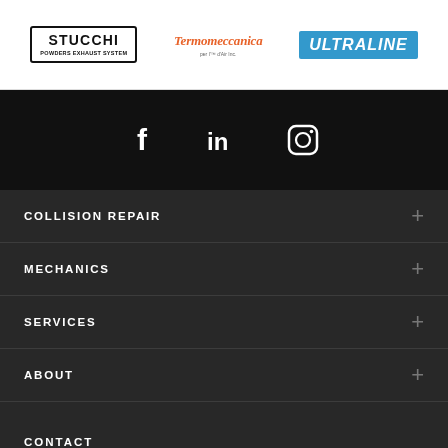[Figure (logo): Stucchi Powders Exhaust System logo — black box with bold text]
[Figure (logo): Termomeccanica orange italic logo with small subtitle]
[Figure (logo): Ultraline blue background white bold italic text logo]
[Figure (infographic): Social media icons: Facebook, LinkedIn, Instagram on black background]
COLLISION REPAIR
MECHANICS
SERVICES
ABOUT
CONTACT
10 740, Racette Avenue